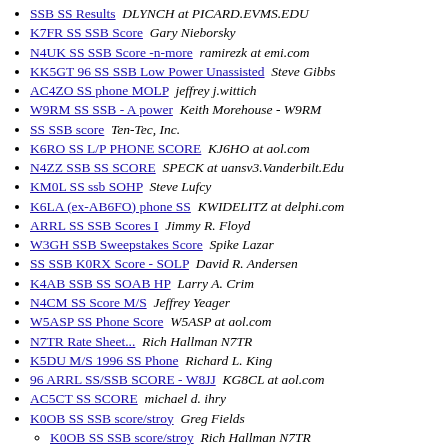SSB SS Results   DLYNCH at PICARD.EVMS.EDU
K7FR SS SSB Score   Gary Nieborsky
N4UK SS SSB Score -n-more   ramirezk at emi.com
KK5GT 96 SS SSB Low Power Unassisted   Steve Gibbs
AC4ZO SS phone MOLP   jeffrey j.wittich
W9RM SS SSB - A power   Keith Morehouse - W9RM
SS SSB score   Ten-Tec, Inc.
K6RO SS L/P PHONE SCORE   KJ6HO at aol.com
N4ZZ SSB SS SCORE   SPECK at uansv3.Vanderbilt.Edu
KM0L SS ssb SOHP   Steve Lufcy
K6LA (ex-AB6FO) phone SS   KWIDELITZ at delphi.com
ARRL SS SSB Scores I   Jimmy R. Floyd
W3GH SSB Sweepstakes Score   Spike Lazar
SS SSB K0RX Score - SOLP   David R. Andersen
K4AB SSB SS SOAB HP   Larry A. Crim
N4CM SS Score M/S   Jeffrey Yeager
W5ASP SS Phone Score   W5ASP at aol.com
N7TR Rate Sheet...   Rich Hallman N7TR
K5DU M/S 1996 SS Phone   Richard L. King
96 ARRL SS/SSB SCORE - W8JJ   KG8CL at aol.com
AC5CT SS SCORE   michael d. ihry
K0OB SS SSB score/stroy   Greg Fields
K0OB SS SSB score/stroy   Rich Hallman N7TR
SS Phone 96   MIKEAA8FE at aol.com
SS96   David D Montgomery